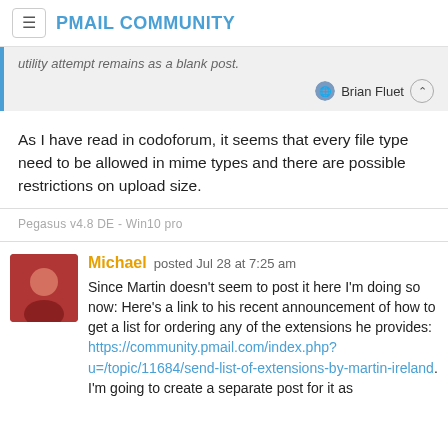PMAIL COMMUNITY
utility attempt remains as a blank post.
Brian Fluet
As I have read in codoforum, it seems that every file type need to be allowed in mime types and there are possible restrictions on upload size.
Pegasus v4.8 DE - Win10 pro
Michael posted Jul 28 at 7:25 am
Since Martin doesn't seem to post it here I'm doing so now: Here's a link to his recent announcement of how to get a list for ordering any of the extensions he provides: https://community.pmail.com/index.php?u=/topic/11684/send-list-of-extensions-by-martin-ireland. I'm going to create a separate post for it as